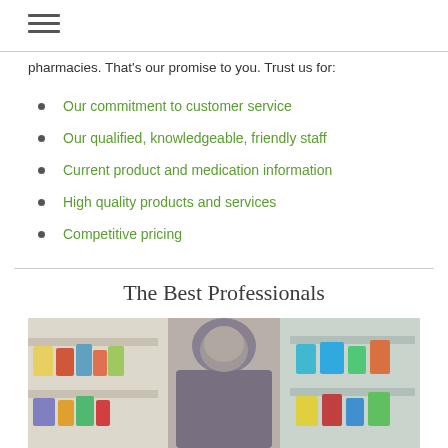pharmacies. That’s our promise to you. Trust us for:
Our commitment to customer service
Our qualified, knowledgeable, friendly staff
Current product and medication information
High quality products and services
Competitive pricing
The Best Professionals
[Figure (photo): Pharmacist standing in front of pharmacy shelves stocked with medications and health products, smiling at camera.]